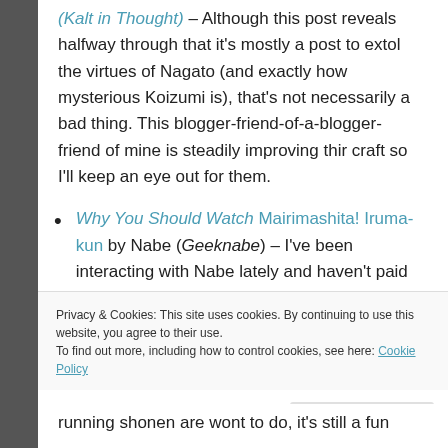(Kalt in Thought) – Although this post reveals halfway through that it's mostly a post to extol the virtues of Nagato (and exactly how mysterious Koizumi is), that's not necessarily a bad thing. This blogger-friend-of-a-blogger-friend of mine is steadily improving thir craft so I'll keep an eye out for them.
Why You Should Watch Mairimashita! Iruma-kun by Nabe (Geeknabe) – I've been interacting with Nabe lately and haven't paid my common courtesy of sharing quality posts after digging
Privacy & Cookies: This site uses cookies. By continuing to use this website, you agree to their use.
To find out more, including how to control cookies, see here: Cookie Policy
running shonen are wont to do, it's still a fun